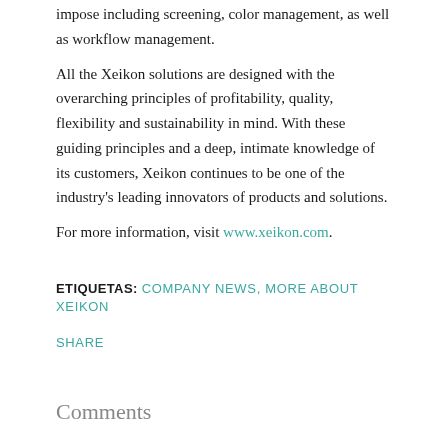impose including screening, color management, as well as workflow management.
All the Xeikon solutions are designed with the overarching principles of profitability, quality, flexibility and sustainability in mind. With these guiding principles and a deep, intimate knowledge of its customers, Xeikon continues to be one of the industry's leading innovators of products and solutions.
For more information, visit www.xeikon.com.
ETIQUETAS: COMPANY NEWS, MORE ABOUT XEIKON
SHARE
Comments